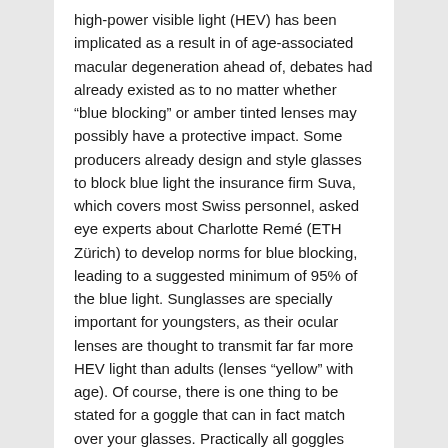high-power visible light (HEV) has been implicated as a result in of age-associated macular degeneration ahead of, debates had already existed as to no matter whether "blue blocking" or amber tinted lenses may possibly have a protective impact. Some producers already design and style glasses to block blue light the insurance firm Suva, which covers most Swiss personnel, asked eye experts about Charlotte Remé (ETH Zürich) to develop norms for blue blocking, leading to a suggested minimum of 95% of the blue light. Sunglasses are specially important for youngsters, as their ocular lenses are thought to transmit far far more HEV light than adults (lenses "yellow" with age). Of course, there is one thing to be stated for a goggle that can in fact match over your glasses. Practically all goggles have produced the assumption that you would not be donning a pair of corrective vision lenses just before hitting the slopes. While numerous skiers choose the make contact with route, it can be mentioned for these who put on glasses, this is a genuinely nice touch. Active infrared night vision combines infrared illumination of spectral variety 700nm-